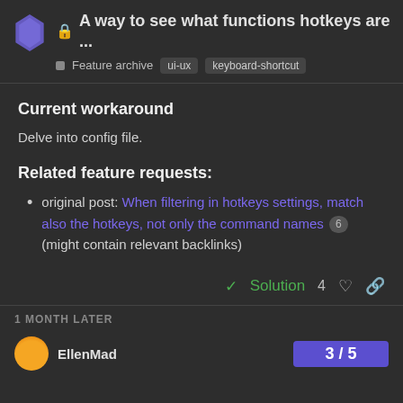A way to see what functions hotkeys are ... | Feature archive | ui-ux | keyboard-shortcut
Current workaround
Delve into config file.
Related feature requests:
original post: When filtering in hotkeys settings, match also the hotkeys, not only the command names 6
(might contain relevant backlinks)
✓ Solution   4 ♡ 🔗
1 MONTH LATER
EllenMad  3 / 5